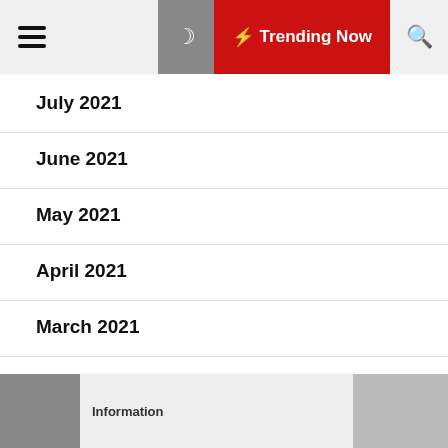☰ ☽ ⚡ Trending Now 🔍
July 2021
June 2021
May 2021
April 2021
March 2021
February 2021
January 2021
Information